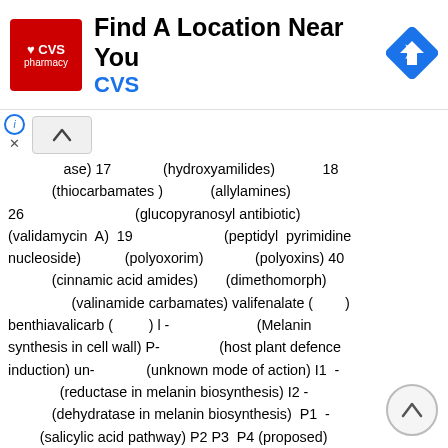[Figure (other): CVS Pharmacy advertisement banner with logo, 'Find A Location Near You' text, CVS subtitle, and navigation icon]
ase) 17 (hydroxyamilides) 18 (thiocarbamates ) (allylamines) 26 (glucopyranosyl antibiotic) (validamycin A) 19 (peptidyl pyrimidine nucleoside) (polyoxorim) (polyoxins) 40 (cinnamic acid amides) (dimethomorph) (valinamide carbamates) valifenalate ( ) benthiavalicarb ( ) I - (Melanin synthesis in cell wall) P- (host plant defence induction) un- (unknown mode of action) I1 - (reductase in melanin biosynthesis) I2 - (dehydratase in melanin biosynthesis) P1 - (salicylic acid pathway) P2 P3 P4 (proposed) (mandelic acid amides) (mandipropamid) 16.1 (isobenzofuranone) (phthalide) (pyrroloquinolinone) (pyroquilon) (triazolobenzothiazole) (tricyclazole) 16.2 (cyclopropanecarboxamide) (carpropamid) P